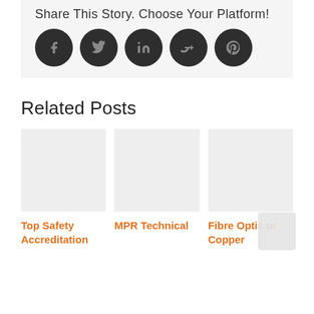Share This Story. Choose Your Platform!
[Figure (infographic): Five social media share buttons (Facebook, Twitter, LinkedIn, Google+, Pinterest) as dark circular icons]
Related Posts
[Figure (photo): Placeholder image for Top Safety Accreditation post]
Top Safety Accreditation
[Figure (photo): Placeholder image for MPR Technical post]
MPR Technical
[Figure (photo): Placeholder image for Fibre Optic or Copper post]
Fibre Optic or Copper